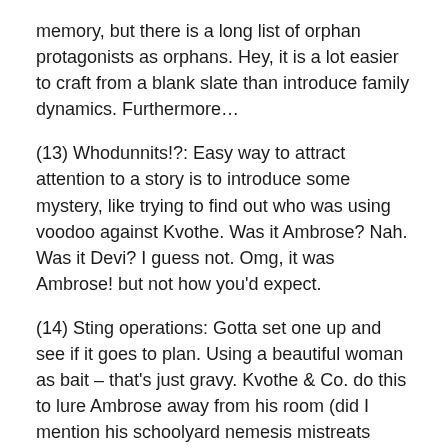memory, but there is a long list of orphan protagonists as orphans. Hey, it is a lot easier to craft from a blank slate than introduce family dynamics. Furthermore…
(13) Whodunnits!?: Easy way to attract attention to a story is to introduce some mystery, like trying to find out who was using voodoo against Kvothe. Was it Ambrose? Nah. Was it Devi? I guess not. Omg, it was Ambrose! but not how you'd expect.
(14) Sting operations: Gotta set one up and see if it goes to plan. Using a beautiful woman as bait – that's just gravy. Kvothe & Co. do this to lure Ambrose away from his room (did I mention his schoolyard nemesis mistreats women, so you know he really is the bad guy). Kvothe uses the diversion to burn down Ambrose's room, while seemingly innocent. Enjoy the arson, sucka.